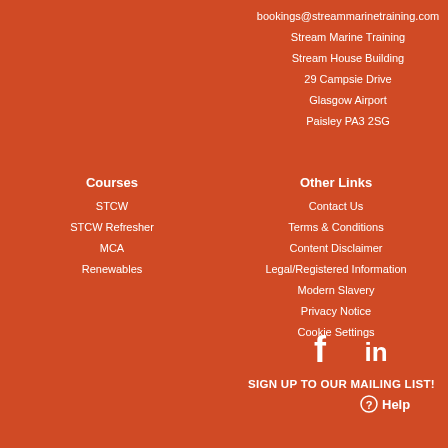bookings@streammarinetraining.com
Stream Marine Training
Stream House Building
29 Campsie Drive
Glasgow Airport
Paisley PA3 2SG
Courses
STCW
STCW Refresher
MCA
Renewables
Other Links
Contact Us
Terms & Conditions
Content Disclaimer
Legal/Registered Information
Modern Slavery
Privacy Notice
Cookie Settings
[Figure (other): Facebook and LinkedIn social media icons]
SIGN UP TO OUR MAILING LIST!
Help